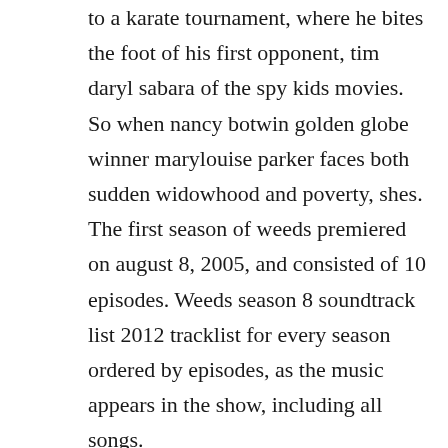to a karate tournament, where he bites the foot of his first opponent, tim daryl sabara of the spy kids movies. So when nancy botwin golden globe winner marylouise parker faces both sudden widowhood and poverty, shes. The first season of weeds premiered on august 8, 2005, and consisted of 10 episodes. Weeds season 8 soundtrack list 2012 tracklist for every season ordered by episodes, as the music appears in the show, including all songs.
Weeds the complete season 8 hdtv comedy